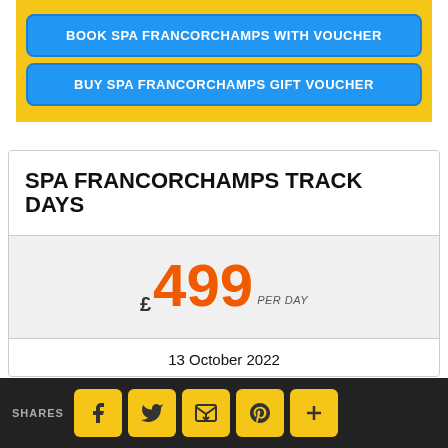[Figure (other): Yellow box with two blue call-to-action buttons: 'BOOK SPA FRANCORCHAMPS WITH VOUCHER' and 'BUY SPA FRANCORCHAMPS GIFT VOUCHER']
SPA FRANCORCHAMPS TRACK DAYS
£499 PER DAY
13 October 2022
[Figure (other): Bottom share bar with SHARES label and social media buttons: Facebook, Twitter, Email, Pinterest, More]